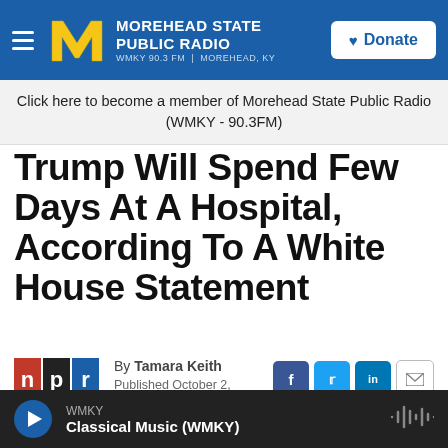MOREHEAD STATE PUBLIC RADIO — WMKY 90.3 FM | MOREHEAD, KY
Click here to become a member of Morehead State Public Radio (WMKY - 90.3FM)
Trump Will Spend Few Days At A Hospital, According To A White House Statement
By Tamara Keith
Published October 2, 2020 at 6:06 PM EDT
WMKY — Classical Music (WMKY)